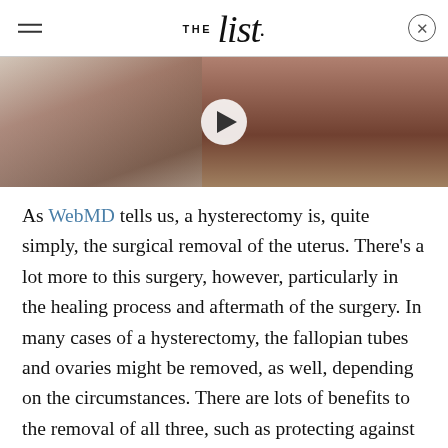THE list
[Figure (photo): Video thumbnail showing a person lying in a hospital bed, with a play button overlay. The image is cropped to the right half of the page width.]
As WebMD tells us, a hysterectomy is, quite simply, the surgical removal of the uterus. There's a lot more to this surgery, however, particularly in the healing process and aftermath of the surgery. In many cases of a hysterectomy, the fallopian tubes and ovaries might be removed, as well, depending on the circumstances. There are lots of benefits to the removal of all three, such as protecting against ovarian cancer and preserving hormonal levels, per Yale News. But for the